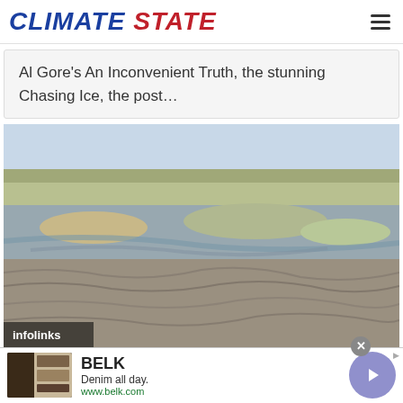CLIMATE STATE
Al Gore’s An Inconvenient Truth, the stunning Chasing Ice, the post…
[Figure (photo): Aerial landscape photograph of a dry, flat wetland or lakebed with shallow water channels, sandy sediment, and scrubby vegetation in the foreground and distant hills on the horizon under a pale sky.]
BELK
Denim all day.
www.belk.com